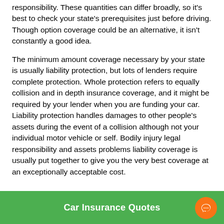responsibility. These quantities can differ broadly, so it's best to check your state's prerequisites just before driving. Though option coverage could be an alternative, it isn't constantly a good idea.
The minimum amount coverage necessary by your state is usually liability protection, but lots of lenders require complete protection. Whole protection refers to equally collision and in depth insurance coverage, and it might be required by your lender when you are funding your car. Liability protection handles damages to other people's assets during the event of a collision although not your individual motor vehicle or self. Bodily injury legal responsibility and assets problems liability coverage is usually put together to give you the very best coverage at an exceptionally acceptable cost.
Car Insurance Quotes